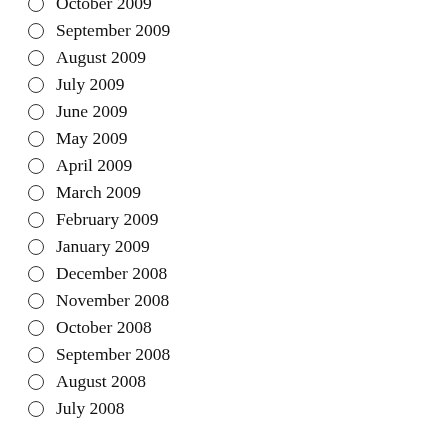October 2009
September 2009
August 2009
July 2009
June 2009
May 2009
April 2009
March 2009
February 2009
January 2009
December 2008
November 2008
October 2008
September 2008
August 2008
July 2008